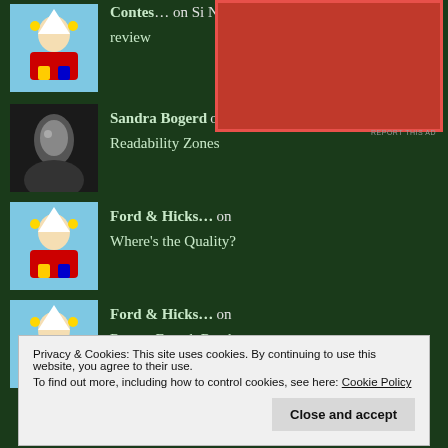[Figure (screenshot): Red advertisement block overlaid on the page]
Contes… on Si No… review
[Figure (photo): Cartoon avatar with gnomes/figures on blue background]
Sandra Bogerd on Readability Zones
[Figure (photo): Black and white profile photo]
Ford & Hicks… on Where's the Quality?
[Figure (photo): Cartoon avatar with gnomes/figures on blue background]
Ford & Hicks… on Recent French Reader Reads plu…
[Figure (photo): Cartoon avatar with gnomes/figures on blue background]
Privacy & Cookies: This site uses cookies. By continuing to use this website, you agree to their use. To find out more, including how to control cookies, see here: Cookie Policy
Close and accept